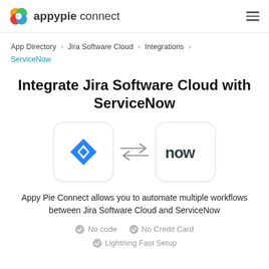appypie connect
App Directory > Jira Software Cloud > Integrations > ServiceNow
Integrate Jira Software Cloud with ServiceNow
[Figure (logo): Jira Software Cloud logo (blue diamond) and ServiceNow logo (now) with bidirectional arrows between them]
Appy Pie Connect allows you to automate multiple workflows between Jira Software Cloud and ServiceNow
No code
No Credit Card
Lightning Fast Setup